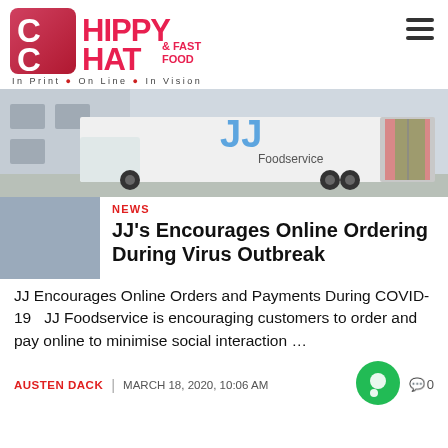[Figure (logo): Chippy Chat & Fast Food logo — red gradient square with white C, pink/red text reading CHIPPY CHAT & FAST FOOD]
In Print  •  On Line  •  In Vision
[Figure (photo): JJ Foodservice delivery truck parked outside a warehouse/depot building]
NEWS
JJ's Encourages Online Ordering During Virus Outbreak
JJ Encourages Online Orders and Payments During COVID-19   JJ Foodservice is encouraging customers to order and pay online to minimise social interaction …
AUSTEN DACK  |  MARCH 18, 2020, 10:06 AM